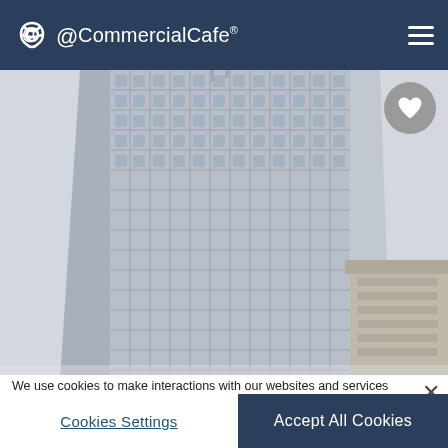CommercialCafe®
[Figure (photo): Upward-angled photograph of a tall glass and steel office building (skyscraper) against a pale grey sky, with a lower-rise building visible at lower right.]
We use cookies to make interactions with our websites and services easy and meaningful and to better understand how they are used. You can find out more about which cookies we are using and update your preferences in Cookies Settings. By clicking "Accept All Cookies," you are agreeing to our use of cookies. Cookie Notice.
Cookies Settings
Accept All Cookies